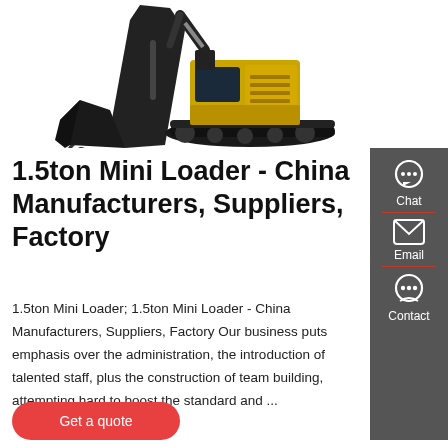[Figure (photo): Yellow excavator construction equipment shown on white background, with large hydraulic arm/bucket in foreground and full machine view in background.]
1.5ton Mini Loader - China Manufacturers, Suppliers, Factory
1.5ton Mini Loader; 1.5ton Mini Loader - China Manufacturers, Suppliers, Factory Our business puts emphasis over the administration, the introduction of talented staff, plus the construction of team building, attempting hard to boost the standard and ...
Get a quote